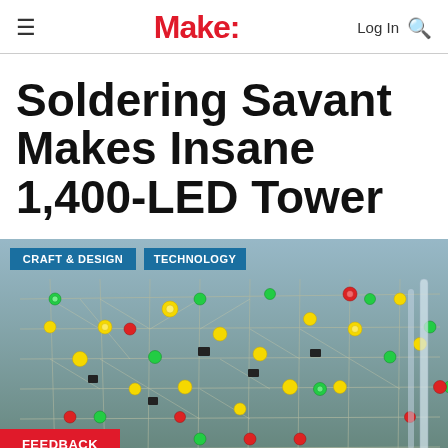Make:
Soldering Savant Makes Insane 1,400-LED Tower
[Figure (photo): Close-up photograph of a complex LED tower construction with many yellow, green, and red LEDs soldered onto a wire framework grid structure. Tags 'CRAFT & DESIGN' and 'TECHNOLOGY' appear in blue boxes at the top of the image. A red 'FEEDBACK' button appears at the bottom left.]